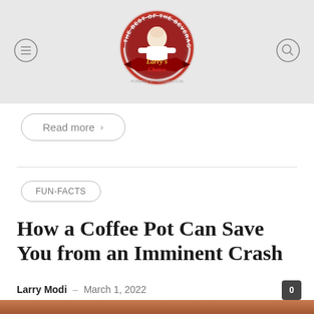[Figure (logo): Larry's Choice logo — circular badge reading 'The Best of The Beverage World' with a chef figure and red/dark ribbon banner saying 'Larry's Choice']
Read more >
FUN-FACTS
How a Coffee Pot Can Save You from an Imminent Crash
Larry Modi – March 1, 2022
0